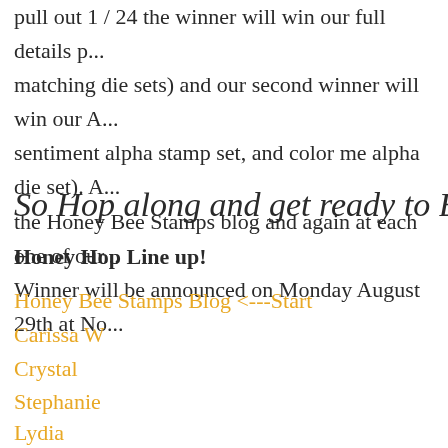pull out 1 / 24 the winner will win our full details p... matching die sets) and our second winner will win our A... sentiment alpha stamp set, and color me alpha die set). A... the Honey Bee Stamps blog and again at each one of our... Winner will be announced on Monday August 29th at No...
So Hop along and get ready to BEE
Honey Hop Line up!
Honey Bee Stamps Blog <---Start
Carissa W
Crystal
Stephanie
Lydia
Larissa
Lesley